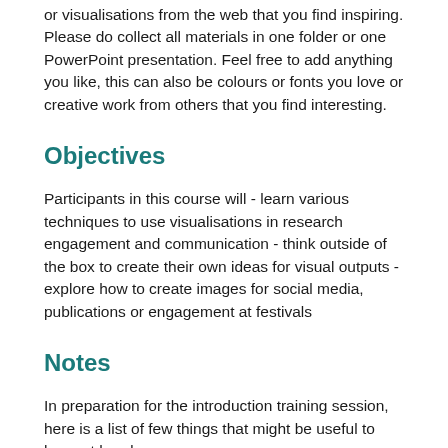or visualisations from the web that you find inspiring. Please do collect all materials in one folder or one PowerPoint presentation. Feel free to add anything you like, this can also be colours or fonts you love or creative work from others that you find interesting.
Objectives
Participants in this course will - learn various techniques to use visualisations in research engagement and communication - think outside of the box to create their own ideas for visual outputs - explore how to create images for social media, publications or engagement at festivals
Notes
In preparation for the introduction training session, here is a list of few things that might be useful to have at hand: